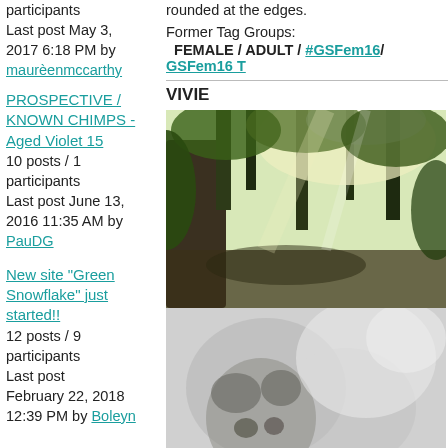participants
Last post May 3, 2017 6:18 PM by maurèenmccarthy
PROSPECTIVE / KNOWN CHIMPS - Aged Violet 15
10 posts / 1 participants
Last post June 13, 2016 11:35 AM by PauDG
New site "Green Snowflake" just started!!
12 posts / 9 participants
Last post February 22, 2018 12:39 PM by Boleyn
rounded at the edges.
Former Tag Groups:
FEMALE / ADULT / #GSFem16/ GSFem16 T
VIVIE
[Figure (photo): Forest scene with trees and dappled light through canopy]
[Figure (photo): Close-up of a chimpanzee face, grayscale/low contrast]